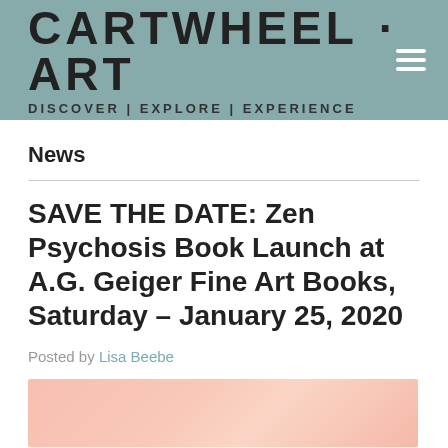CARTWHEEL · ART — DISCOVER | EXPLORE | EXPERIENCE
News
SAVE THE DATE: Zen Psychosis Book Launch at A.G. Geiger Fine Art Books, Saturday – January 25, 2020
Posted by Lisa Beebe
[Figure (photo): Partial view of a pink/peach toned photo at the bottom of the page, content not fully visible]